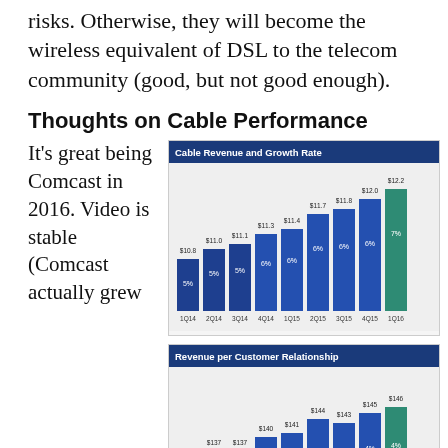risks. Otherwise, they will become the wireless equivalent of DSL to the telecom community (good, but not good enough).
Thoughts on Cable Performance
It's great being Comcast in 2016. Video is stable (Comcast actually grew
[Figure (bar-chart): Cable Revenue and Growth Rate]
[Figure (bar-chart): Revenue per Customer Relationship]